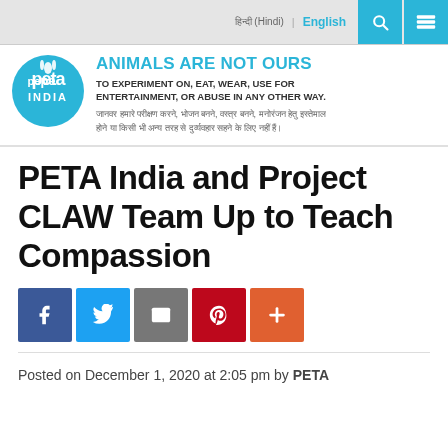हिन्दी (Hindi) | English
[Figure (logo): PETA India circular logo in teal/blue]
ANIMALS ARE NOT OURS TO EXPERIMENT ON, EAT, WEAR, USE FOR ENTERTAINMENT, OR ABUSE IN ANY OTHER WAY.
जानवर हमारे परीक्षण करने, भोजन बनने, वस्त्र बनने, मनोरंजन हेतु इस्तेमाल होने या किसी भी अन्य तरह से दुर्व्यवहार सहने के लिए नहीं हैं।
PETA India and Project CLAW Team Up to Teach Compassion
[Figure (infographic): Social sharing buttons: Facebook, Twitter, Email, Pinterest, Plus]
Posted on December 1, 2020 at 2:05 pm by PETA